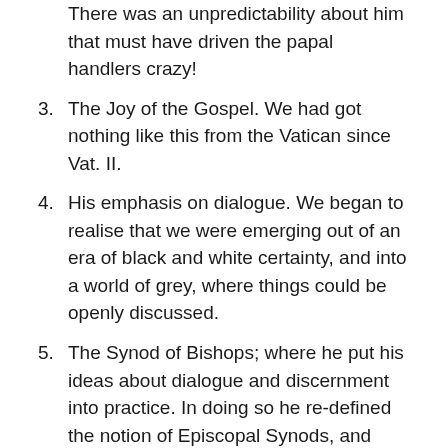There was an unpredictability about him that must have driven the papal handlers crazy!
3. The Joy of the Gospel. We had got nothing like this from the Vatican since Vat. II.
4. His emphasis on dialogue. We began to realise that we were emerging out of an era of black and white certainty, and into a world of grey, where things could be openly discussed.
5. The Synod of Bishops; where he put his ideas about dialogue and discernment into practice. In doing so he re-defined the notion of Episcopal Synods, and restored their credibility.
6. His constant emphasis on the Love of God for all people, not just for the few.
7. And, as a consequence, our church must be a